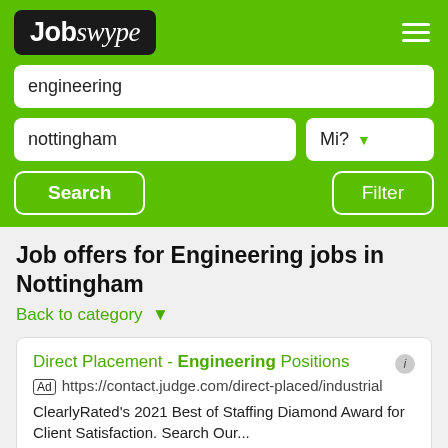[Figure (screenshot): Jobswype logo — white text on black rounded rectangle background]
engineering
nottingham	Mi?
Search	Filter
Job offers for Engineering jobs in Nottingham
Back to category ▾
Direct Placement - Engineering Positions
Ad https://contact.judge.com/direct-placed/industrial
ClearlyRated's 2021 Best of Staffing Diamond Award for Client Satisfaction. Search Our...
Submit Your Resume
Direct Hire & Search
Hire Top Talent